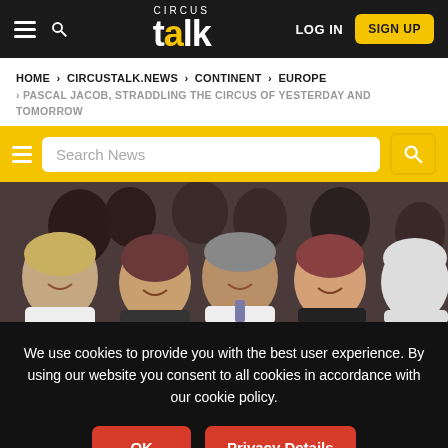CIRCUS talk — LOG IN | SIGN UP
HOME > CIRCUSTALK.NEWS > CONTINENT > EUROPE > PASCAL JACOB, STRADDLING THE CIRCUS OF YESTERDAY AND TOMORROW
[Figure (screenshot): Search bar with yellow background, hamburger menu icon on left, white search input field with placeholder 'Search News', and yellow search button on right]
[Figure (photo): Group photo of smiling people at what appears to be a circus or entertainment event, crowded together looking at the camera]
We use cookies to provide you with the best user experience. By using our website you consent to all cookies in accordance with our cookie policy.
OK | Privacy Details